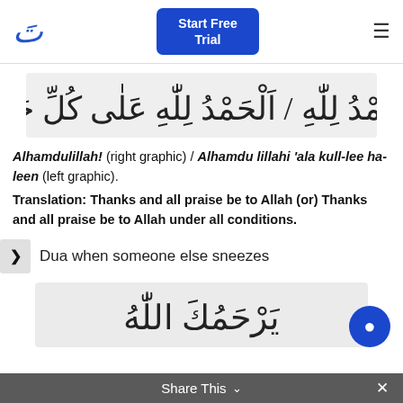Start Free Trial
[Figure (illustration): Arabic calligraphy showing Alhamdulillah (right) and Alhamdu lillahi ala kulli hal (left)]
Alhamdulillah! (right graphic) / Alhamdu lillahi 'ala kull-lee ha-leen (left graphic).
Translation: Thanks and all praise be to Allah (or) Thanks and all praise be to Allah under all conditions.
Dua when someone else sneezes
[Figure (illustration): Arabic calligraphy showing Yarhamuk Allah]
Share This